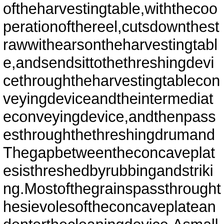oftheharvestingtable,withthecooperationofthereel,cutsdownthestrawwithearsontheharvestingtable,andsendsittothethreshingdevicethroughtheharvestingtableconveyingdeviceandtheintermediateconveyingdevice,andthenpassesthroughthethreshingdrumandThegapbetweentheconcaveplatesisthreshedbyrubbingandstriking.Mostofthegrainspassthroughthesievolesoftheconcaveplateandenterthecleaningdevice.Asmallamountofgrainsentrainedontheconcaveplatearthrowntotheseparationdevice.Thegrainsareseparatedundertheupanddownandbackandforthshakingofthechainseparator.Aftergoingoutintothecleaningdevice,largedebrissuchasstemsanddraftsaretransportedbackwardsandthrownoutofthemachine.Thegrainsenteringthecleaningdeviceareremovedfrromthefineimpuritiesbyfansandsieves,andthecleangrainsaresenttothegrainbin.Afterthegrainboxisfull,startthegrainunloadingconveyortosendthegrainintothegraintank,thegridlineallots1070...